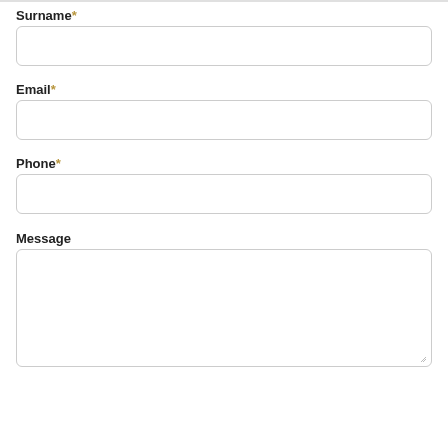Surname*
Email*
Phone*
Message